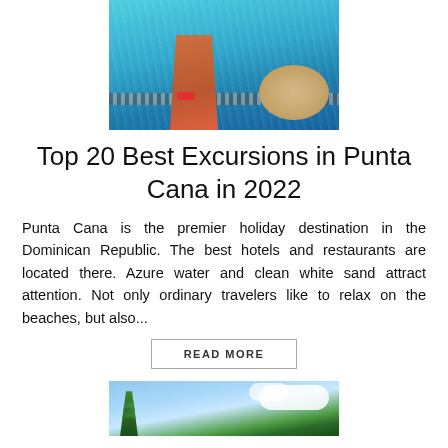[Figure (photo): Aerial/top view of a person in a red bikini lying by a pool edge, legs visible, wearing a sun hat, turquoise water]
Top 20 Best Excursions in Punta Cana in 2022
Punta Cana is the premier holiday destination in the Dominican Republic. The best hotels and restaurants are located there. Azure water and clean white sand attract attention. Not only ordinary travelers like to relax on the beaches, but also...
READ MORE
[Figure (photo): Photo of palm trees against a bright blue sky with white clouds, tropical setting]